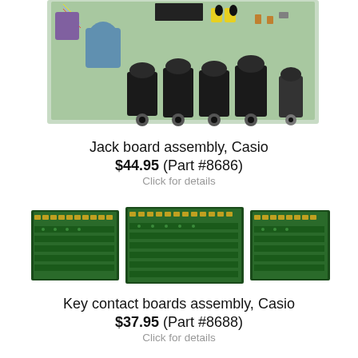[Figure (photo): Jack board assembly circuit board for Casio, showing green PCB with black potentiometer knobs and various electronic components]
Jack board assembly, Casio
$44.95 (Part #8686)
Click for details
[Figure (photo): Key contact boards assembly for Casio, showing three green PCBs side by side with key contact connectors]
Key contact boards assembly, Casio
$37.95 (Part #8688)
Click for details